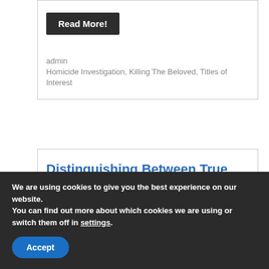Read More!
admin
Homicide Investigation, Killing The Beloved, Titles of Interest
Distinguishing Between True and False Confessions
August 6, 2017
The impact of a confession on a jury in a capital case is so powerful that a defense
We are using cookies to give you the best experience on our website.
You can find out more about which cookies we are using or switch them off in settings.
Accept